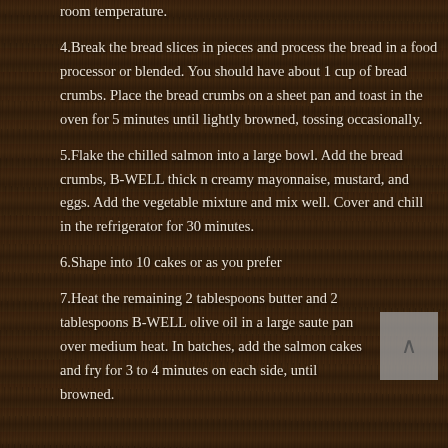room temperature.
4.Break the bread slices in pieces and process the bread in a food processor or blended. You should have about 1 cup of bread crumbs. Place the bread crumbs on a sheet pan and toast in the oven for 5 minutes until lightly browned, tossing occasionally.
5.Flake the chilled salmon into a large bowl. Add the bread crumbs, B-WELL thick n creamy mayonnaise, mustard, and eggs. Add the vegetable mixture and mix well. Cover and chill in the refrigerator for 30 minutes.
6.Shape into 10 cakes or as you prefer
7.Heat the remaining 2 tablespoons butter and 2 tablespoons B-WELL olive oil in a large saute pan over medium heat. In batches, add the salmon cakes and fry for 3 to 4 minutes on each side, until browned.